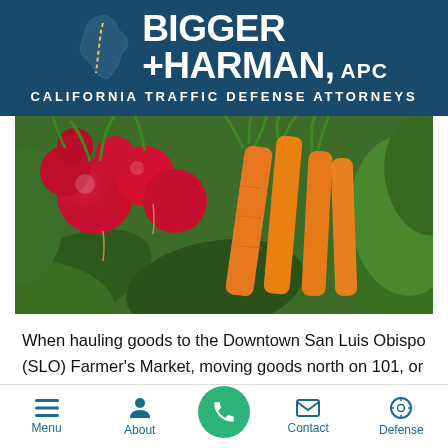[Figure (logo): Bigger + Harman APC logo with California state outline icon and firm name on dark teal background. Tagline: CALIFORNIA TRAFFIC DEFENSE ATTORNEYS]
[Figure (photo): Close-up photograph of fresh vegetables at a farmer's market: red radishes and orange carrots with green leafy tops]
When hauling goods to the Downtown San Luis Obispo (SLO) Farmer's Market, moving goods north on 101, or east-west on SR46 or 58, take care trucking through SLO. The traffic courts in Paso Robles and SLO city collect significant fines for
Menu  About  [Call]  Contact  Defense